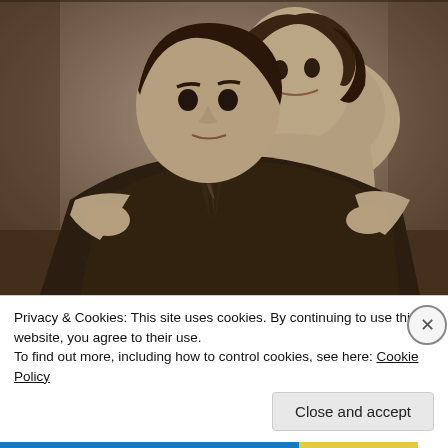[Figure (photo): Vintage sepia-toned black and white portrait photograph of two people. A man in a dark suit with a tie is seated in the foreground, and a woman in a light-colored top stands behind him with her arms around his shoulders.]
Privacy & Cookies: This site uses cookies. By continuing to use this website, you agree to their use.
To find out more, including how to control cookies, see here: Cookie Policy